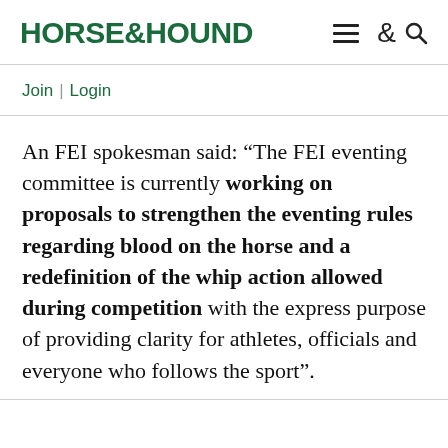HORSE&HOUND
Join | Login
An FEI spokesman said: “The FEI eventing committee is currently working on proposals to strengthen the eventing rules regarding blood on the horse and a redefinition of the whip action allowed during competition with the express purpose of providing clarity for athletes, officials and everyone who follows the sport”.